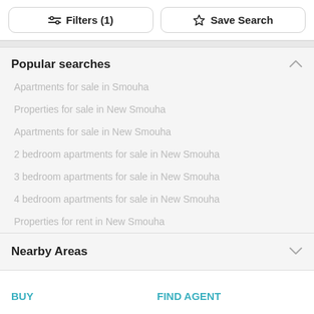[Figure (screenshot): Top toolbar with Filters (1) button and Save Search button]
Popular searches
Apartments for sale in Smouha
Properties for sale in New Smouha
Apartments for sale in New Smouha
2 bedroom apartments for sale in New Smouha
3 bedroom apartments for sale in New Smouha
4 bedroom apartments for sale in New Smouha
Properties for rent in New Smouha
Nearby Areas
BUY
FIND AGENT
RENT
NEW PROJECTS